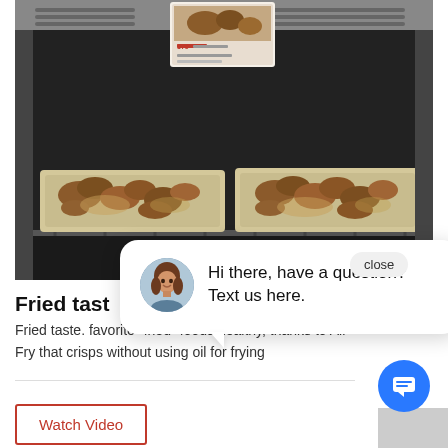[Figure (photo): Oven interior with two baking trays containing fried/roasted food items, with a small recipe card visible on the oven display at the top. The oven has dark interior and metal rack visible.]
[Figure (screenshot): Chat popup overlay with a female avatar photo and text 'Hi there, have a question? Text us here.' with a close button and a blue circular chat icon button.]
Fried tast
Fried taste. favorite "fried" foods healthy, thanks to Air Fry that crisps without using oil for frying
Watch Video